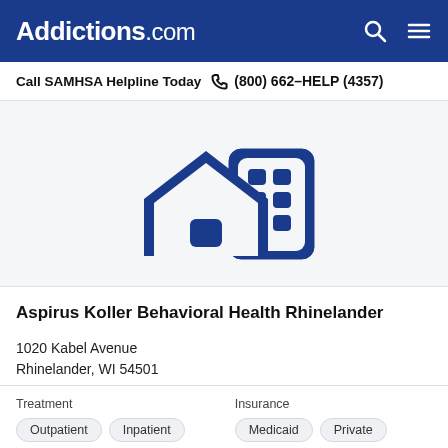Addictions.com
Call SAMHSA Helpline Today  (800) 662-HELP (4357)
[Figure (illustration): Icon of a house and a building/office block in dark blue, representing a behavioral health facility]
Aspirus Koller Behavioral Health Rhinelander
1020 Kabel Avenue
Rhinelander, WI 54501
Treatment: Outpatient  Inpatient
Insurance: Medicaid  Private